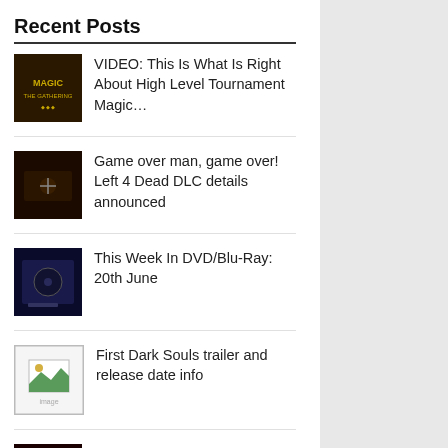Recent Posts
VIDEO: This Is What Is Right About High Level Tournament Magic…
Game over man, game over! Left 4 Dead DLC details announced
This Week In DVD/Blu-Ray: 20th June
First Dark Souls trailer and release date info
Comics You Crave – Predator vs Judge Dredd vs Aliens #1